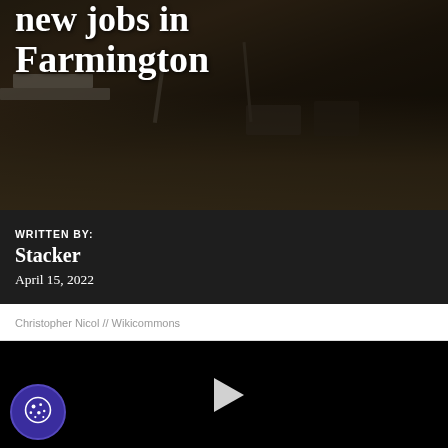[Figure (photo): Aerial photo of an industrial site in Farmington with trucks, equipment, and dirt ground. Dark overlay on image. Title text overlaid: 'new jobs in Farmington'.]
WRITTEN BY:
Stacker
April 15, 2022
Christopher Nicol // Wikicommons
[Figure (screenshot): Black video player area with a white play button triangle in the center.]